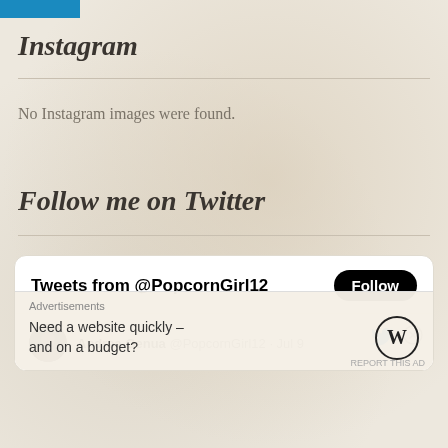[Figure (other): Blue button/banner at top left corner of the page]
Instagram
No Instagram images were found.
Follow me on Twitter
[Figure (screenshot): Twitter widget showing 'Tweets from @PopcornGirl12' with a Follow button, and a tweet row showing Andrea Genua @PopcornGirl12 · Jul 9 with Twitter bird icon and close button]
Advertisements
Need a website quickly – and on a budget?